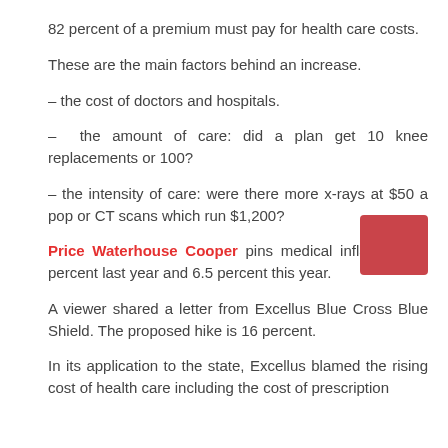82 percent of a premium must pay for health care costs.
These are the main factors behind an increase.
– the cost of doctors and hospitals.
–  the amount of care: did a plan get 10 knee replacements or 100?
– the intensity of care: were there more x-rays at $50 a pop or CT scans which run $1,200?
Price Waterhouse Cooper pins medical inflation at 7 percent last year and 6.5 percent this year.
A viewer shared a letter from Excellus Blue Cross Blue Shield. The proposed hike is 16 percent.
In its application to the state, Excellus blamed the rising cost of health care including the cost of prescription